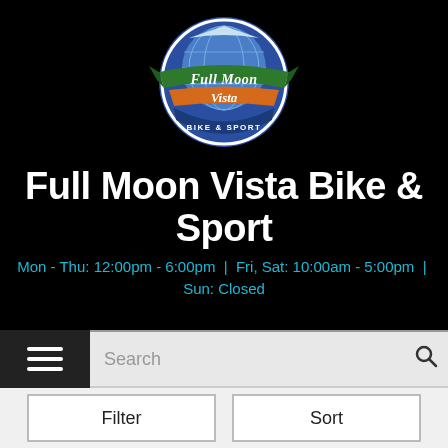[Figure (logo): Full Moon Vista Bike & Sport circular logo with globe, green banner reading 'Full Moon', orange banner reading 'Vista', and blue arc reading 'BIKE & SPORT']
Full Moon Vista Bike & Sport
Mon - Thu: 12:00pm - 6:00pm | Fri, Sat: 10:00am - 5:00pm | Sun: Closed
Search
Filter
Sort